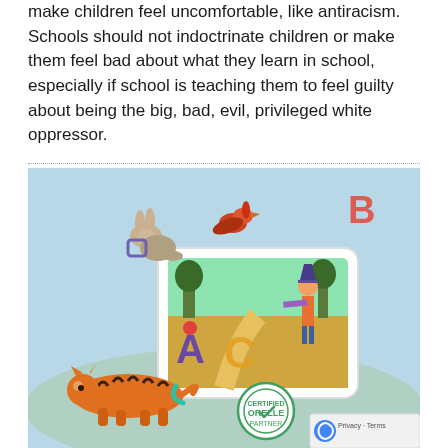make children feel uncomfortable, like antiracism. Schools should not indoctrinate children or make them feel bad about what they learn in school, especially if school is teaching them to feel guilty about being the big, bad, evil, privileged white oppressor.
[Figure (illustration): Colorful educational illustration showing animated animals (rabbit, fox/bird, tiger) jumping out of a tablet device along with letters A, B, C. A scarecrow character stands on a yellow brick road scene inside the tablet. A green circular certification badge is visible. A reCAPTCHA privacy widget appears in the bottom-right corner.]